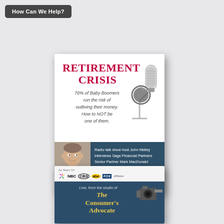How Can We Help?
[Figure (illustration): Book cover titled RETIREMENT CRISIS with subtitle '70% of Baby Boomers run the risk of outliving their money. How to NOT be one of them.' featuring a microphone image and a photo of a man in a suit. Dark teal bottom section reads: 'Radio talk show host John Melley interviews Sage Financial Partners Senior Partner Mark MacDonald']
[Figure (illustration): Partial book cover showing 'As Seen On' with NBC, CBS, ABC, FOX affiliate logos. Dark blue bottom section reads 'Live, from the studio of The Consumer's Advocate' with a camera image.]